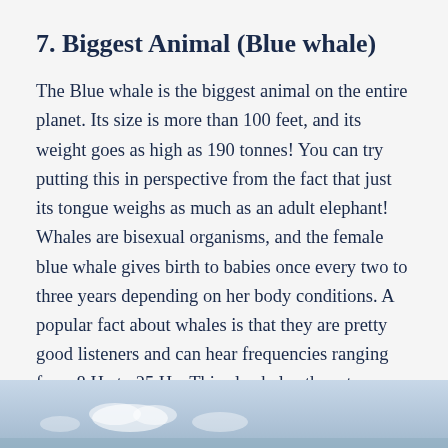7. Biggest Animal (Blue whale)
The Blue whale is the biggest animal on the entire planet. Its size is more than 100 feet, and its weight goes as high as 190 tonnes! You can try putting this in perspective from the fact that just its tongue weighs as much as an adult elephant! Whales are bisexual organisms, and the female blue whale gives birth to babies once every two to three years depending on her body conditions. A popular fact about whales is that they are pretty good listeners and can hear frequencies ranging from 8 Hz to 25 Hz. This also helps them to use eco-location to travel or to catch prey.
[Figure (photo): Partial view of a blue whale or ocean scene with sky and clouds visible at the bottom of the page]